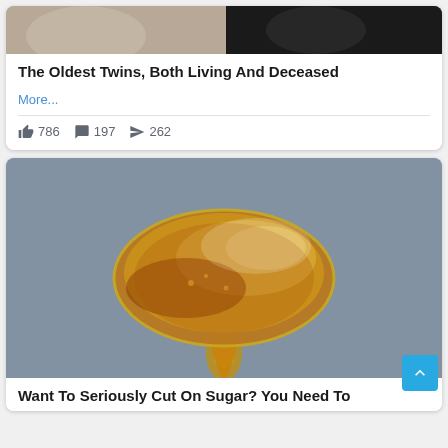[Figure (photo): Partial photo of elderly persons at the top of the first card]
The Oldest Twins, Both Living And Deceased
More...
👍 786  💬 197  ➤ 262
[Figure (photo): Close-up photo of a spoon dripping with honey or syrup]
Want To Seriously Cut On Sugar? You Need To